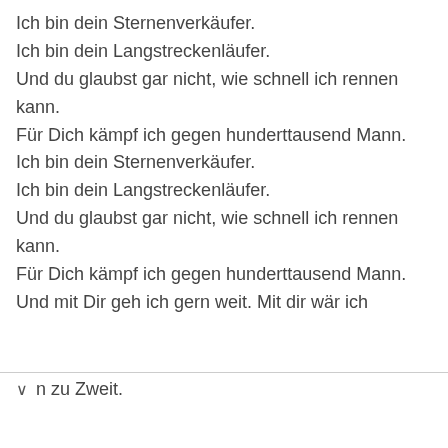Ich bin dein Sternenverkäufer.
Ich bin dein Langstreckenläufer.
Und du glaubst gar nicht, wie schnell ich rennen kann.
Für Dich kämpf ich gegen hunderttausend Mann.
Ich bin dein Sternenverkäufer.
Ich bin dein Langstreckenläufer.
Und du glaubst gar nicht, wie schnell ich rennen kann.
Für Dich kämpf ich gegen hunderttausend Mann.
Und mit Dir geh ich gern weit. Mit dir wär ich
n zu Zweit.